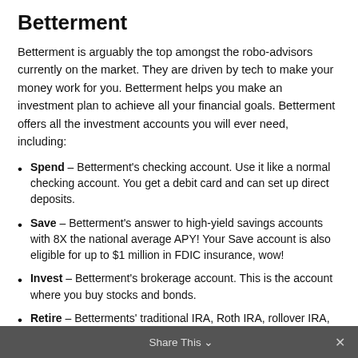Betterment
Betterment is arguably the top amongst the robo-advisors currently on the market. They are driven by tech to make your money work for you. Betterment helps you make an investment plan to achieve all your financial goals. Betterment offers all the investment accounts you will ever need, including:
Spend – Betterment's checking account. Use it like a normal checking account. You get a debit card and can set up direct deposits.
Save – Betterment's answer to high-yield savings accounts with 8X the national average APY! Your Save account is also eligible for up to $1 million in FDIC insurance, wow!
Invest – Betterment's brokerage account. This is the account where you buy stocks and bonds.
Retire – Betterments' traditional IRA, Roth IRA, rollover IRA, and 401(k) plan options. Includes a retirement advice feature too.
Share This ✓  ×